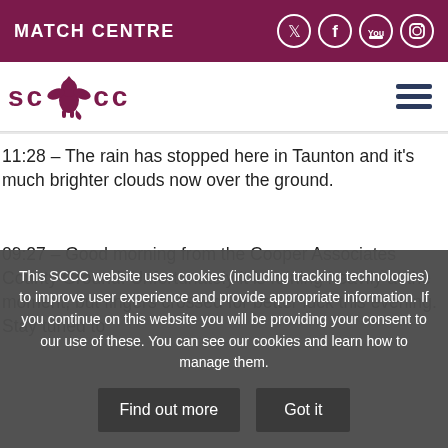MATCH CENTRE
[Figure (logo): SCCC cricket club logo with lion emblem]
11:28 – The rain has stopped here in Taunton and it's much brighter clouds now over the ground.
09:27 – Good morning from the Cooper Associates County Ground. Unfortunately it is raining heavily at the moment, but fingers crossed for better luck this evening. Stay tuned to
This SCCC website uses cookies (including tracking technologies) to improve user experience and provide appropriate information. If you continue on this website you will be providing your consent to our use of these. You can see our cookies and learn how to manage them.